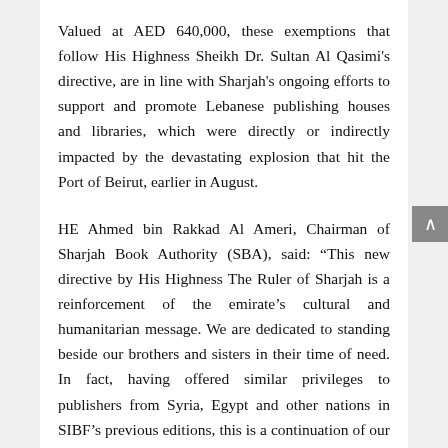Valued at AED 640,000, these exemptions that follow His Highness Sheikh Dr. Sultan Al Qasimi's directive, are in line with Sharjah's ongoing efforts to support and promote Lebanese publishing houses and libraries, which were directly or indirectly impacted by the devastating explosion that hit the Port of Beirut, earlier in August.
HE Ahmed bin Rakkad Al Ameri, Chairman of Sharjah Book Authority (SBA), said: “This new directive by His Highness The Ruler of Sharjah is a reinforcement of the emirate’s cultural and humanitarian message. We are dedicated to standing beside our brothers and sisters in their time of need. In fact, having offered similar privileges to publishers from Syria, Egypt and other nations in SIBF’s previous editions, this is a continuation of our tradition to support publishers in the Arab world who Sharjah views as the true guardians of Arabic